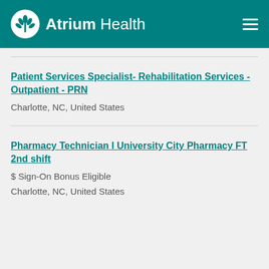Atrium Health
Patient Services Specialist- Rehabilitation Services - Outpatient - PRN
Charlotte, NC, United States
Pharmacy Technician I University City Pharmacy FT 2nd shift
$ Sign-On Bonus Eligible
Charlotte, NC, United States